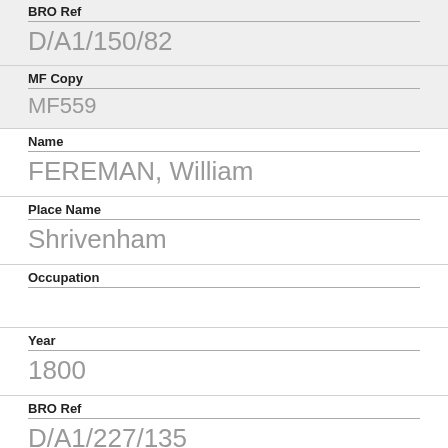BRO Ref
D/A1/150/82
MF Copy
MF559
Name
FEREMAN, William
Place Name
Shrivenham
Occupation
Year
1800
BRO Ref
D/A1/227/135